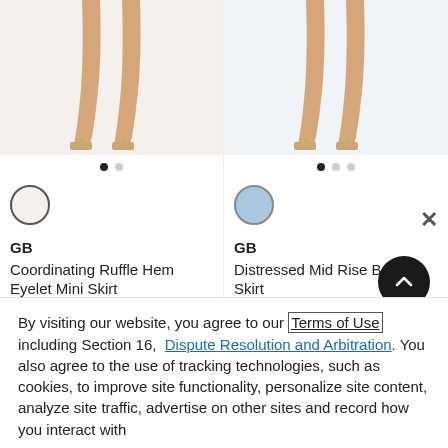[Figure (photo): Product photo showing legs of a model wearing heeled sandals, left column]
[Figure (photo): Product photo showing legs of a model wearing heeled sandals, right column (partially visible)]
GB
Coordinating Ruffle Hem Eyelet Mini Skirt
Permanently Reduced
Orig. $49.00
Now $12.25
GB
Distressed Mid Rise Belted Skirt
Permanently Reduced
Orig. $49.00
Now $9.99
By visiting our website, you agree to our Terms of Use including Section 16, Dispute Resolution and Arbitration. You also agree to the use of tracking technologies, such as cookies, to improve site functionality, personalize site content, analyze site traffic, advertise on other sites and record how you interact with